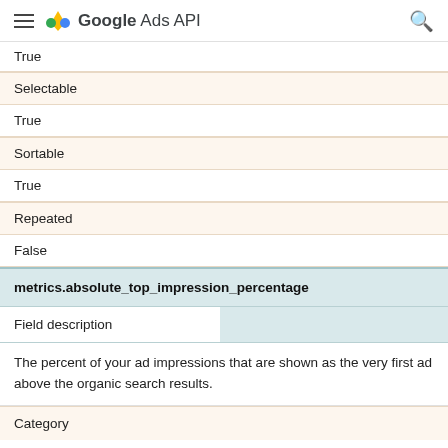Google Ads API
| Selectable | True |
| Sortable | True |
| Repeated | False |
metrics.absolute_top_impression_percentage
| Field description |  |
| --- | --- |
| The percent of your ad impressions that are shown as the very first ad above the organic search results. |  |
Category